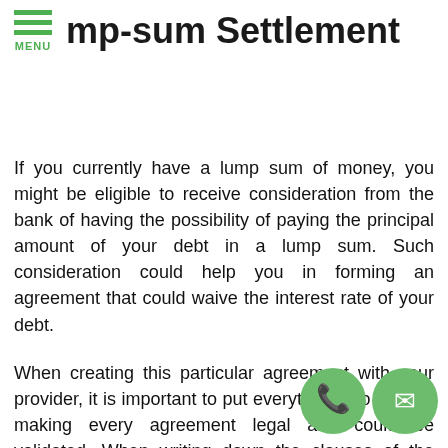MENU  mp-sum Settlement
If you currently have a lump sum of money, you might be eligible to receive consideration from the bank of having the possibility of paying the principal amount of your debt in a lump sum. Such consideration could help you in forming an agreement that could waive the interest rate of your debt.
When creating this particular agreement with your provider, it is important to put everything into writing- making every agreement legal and could be validated. When writing down the clauses of the agreement, make sure that everything is clear. For instance, it must be stipulated that you are paying the lump sum to clear off the whole amount of your debt.
Another matter you need to think about when establishing these agreements is that in most cases the es within the agreement could directly affect your erall